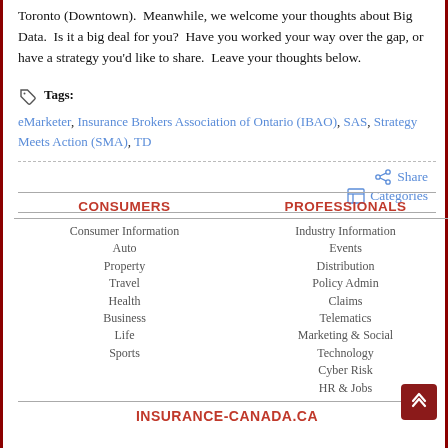Toronto (Downtown). Meanwhile, we welcome your thoughts about Big Data. Is it a big deal for you? Have you worked your way over the gap, or have a strategy you'd like to share. Leave your thoughts below.
Tags: eMarketer, Insurance Brokers Association of Ontario (IBAO), SAS, Strategy Meets Action (SMA), TD
Share
Categories
CONSUMERS
PROFESSIONALS
Consumer Information
Auto
Property
Travel
Health
Business
Life
Sports
Industry Information
Events
Distribution
Policy Admin
Claims
Telematics
Marketing & Social
Technology
Cyber Risk
HR & Jobs
INSURANCE-CANADA.CA